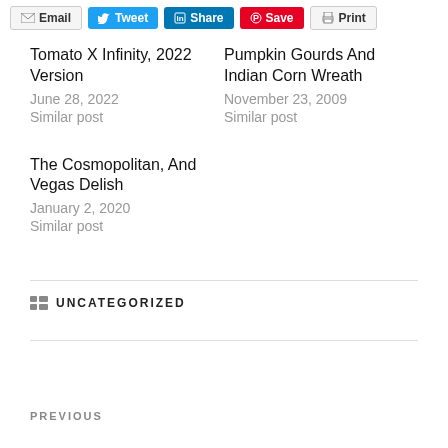Email | Tweet | Share | Save | Print
Tomato X Infinity, 2022 Version
June 28, 2022
Similar post
Pumpkin Gourds And Indian Corn Wreath
November 23, 2009
Similar post
The Cosmopolitan, And Vegas Delish
January 2, 2020
Similar post
UNCATEGORIZED
PREVIOUS